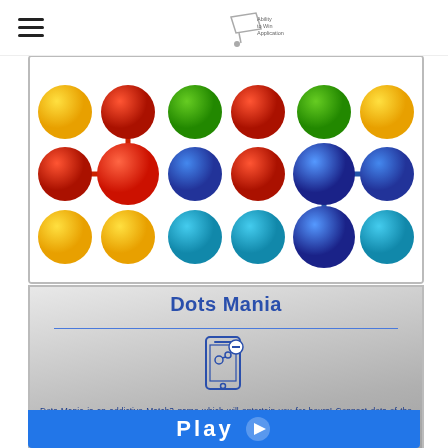[Figure (screenshot): Dots Mania game screenshot showing a grid of colored dots (yellow, red, green, blue, cyan) connected by lines of the same color, on a white background.]
Dots Mania
[Figure (illustration): Mobile phone icon with a dot/connect symbol on screen]
Dots Mania is an addictive Match3 game which will entertain you for hours! Connect dots of the same color and earn as many points as possible. Use special power-ups to reach an even higher score!
[Figure (other): Blue Play button with arrow icon]